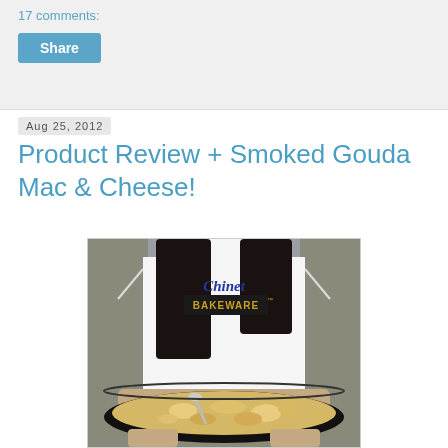17 comments:
Share
Aug 25, 2012
Product Review + Smoked Gouda Mac & Cheese!
[Figure (photo): Person wearing a white Chinet Bakeware apron, holding a black oval baking dish filled with macaroni and cheese, with a spoon in the dish.]